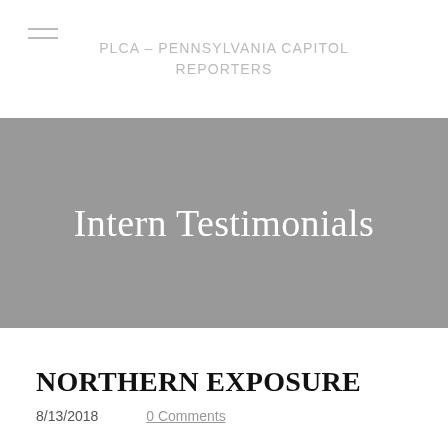PLCA - PENNSYLVANIA CAPITOL REPORTERS
Intern Testimonials
NORTHERN EXPOSURE
8/13/2018
0 Comments
Thank you for the life-changing experience that this internship gave me.